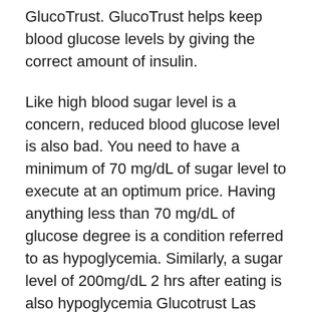GlucoTrust. GlucoTrust helps keep blood glucose levels by giving the correct amount of insulin.
Like high blood sugar level is a concern, reduced blood glucose level is also bad. You need to have a minimum of 70 mg/dL of sugar level to execute at an optimum price. Having anything less than 70 mg/dL of glucose degree is a condition referred to as hypoglycemia. Similarly, a sugar level of 200mg/dL 2 hrs after eating is also hypoglycemia Glucotrust Las Vegas Nevada. Either way, there is something incorrect with your insulin, and you ought to start taking GlucoTrust to improve your wellness.
Hypoglycemia can cause numerous health